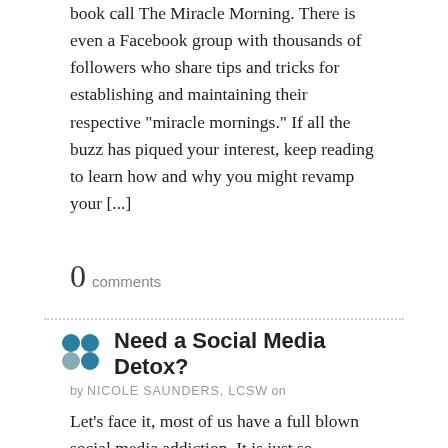book call The Miracle Morning. There is even a Facebook group with thousands of followers who share tips and tricks for establishing and maintaining their respective “miracle mornings.” If all the buzz has piqued your interest, keep reading to learn how and why you might revamp your […]
0 comments
Need a Social Media Detox?
by NICOLE SAUNDERS, LCSW on
Let’s face it, most of us have a full blown social media addiction. It is just so entertaining to scroll through Instagram while waiting in line at the grocery store. Meeting a friend for lunch and she’s running late? No